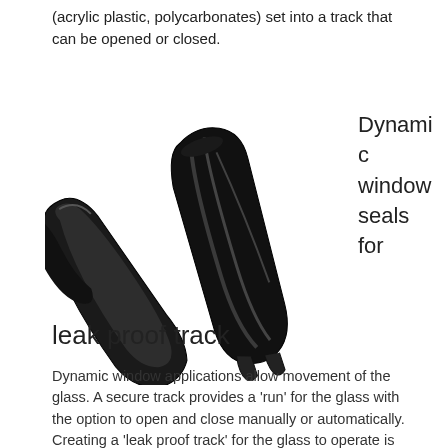(acrylic plastic, polycarbonates) set into a track that can be opened or closed.
[Figure (photo): Two black rubber window seal extrusion profiles — one curved/U-shaped channel seal and one elongated cylindrical seal — photographed on a white background.]
Dynamic window seals for leak proof track
Dynamic window applications allow movement of the glass. A secure track provides a 'run' for the glass with the option to open and close manually or automatically. Creating a 'leak proof track' for the glass to operate is the essence of a dynamic window system. Dynamic windows include home windows, car and truck windows, sunroofs and some skylights.